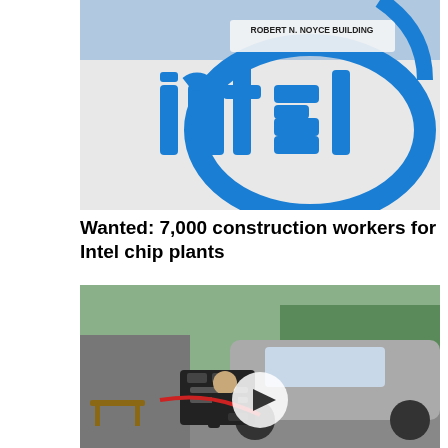[Figure (photo): Intel building exterior showing large blue Intel logo sign and 'Robert N. Noyce Building' text on a white wall]
Wanted: 7,000 construction workers for Intel chip plants
[Figure (photo): Outdoor scene showing police officer and person near a large black vehicle bumper, with a video play button overlay]